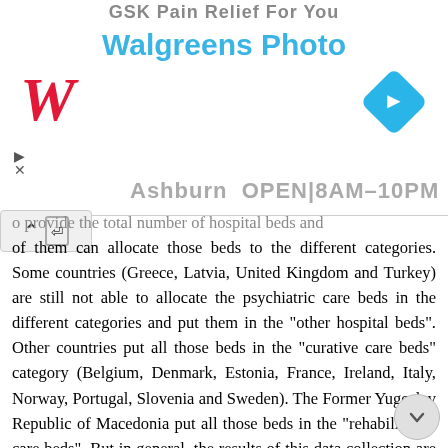[Figure (screenshot): Walgreens advertisement banner showing Walgreens Photo logo, Walgreens cursive logo in red, a blue navigation arrow icon, and text reading 'Ashburn OPEN 8AM-10PM']
o provide the total number of hospital beds and of them can allocate those beds to the different categories. Some countries (Greece, Latvia, United Kingdom and Turkey) are still not able to allocate the psychiatric care beds in the different categories and put them in the "other hospital beds". Other countries put all those beds in the "curative care beds" category (Belgium, Denmark, Estonia, France, Ireland, Italy, Norway, Portugal, Slovenia and Sweden). The Former Yugoslav Republic of Macedonia put all those beds in the "rehabilitative care beds". But in general, the results of this data collection are positive. For the next round of the data collection, Member States are asked to try to fill the gaps on this new breakdown and to avoid allocating the hospital beds to the "other" category. 4 At the time of the data collection, the Netherlands were participating in the "Health Care Non Expenditure Statistics" project, which includes the data on hospital beds. In the framework of the project, they later